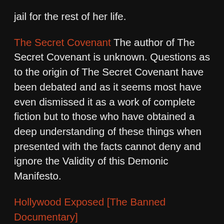jail for the rest of her life.
The Secret Covenant The author of The Secret Covenant is unknown. Questions as to the origin of The Secret Covenant have been debated and as it seems most have even dismissed it as a work of complete fiction but to those who have obtained a deep understanding of these things when presented with the facts cannot deny and ignore the Validity of this Demonic Manifesto.
Hollywood Exposed [The Banned Documentary] There's more to Hollywood than money, fame, red carpet appearances, and millions of adoring fans. There's also staggering shallowness, abuse, heartbreak, and more than a little crime. Find out